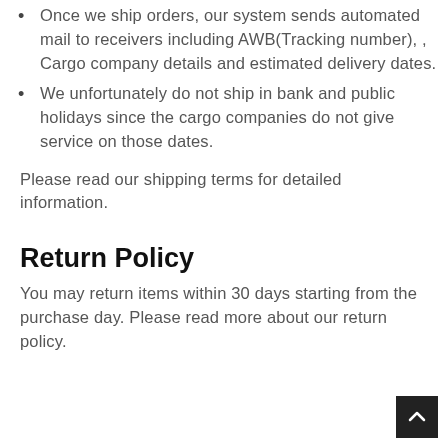Once we ship orders, our system sends automated mail to receivers including AWB(Tracking number), , Cargo company details and estimated delivery dates.
We unfortunately do not ship in bank and public holidays since the cargo companies do not give service on those dates.
Please read our shipping terms for detailed information.
Return Policy
You may return items within 30 days starting from the purchase day. Please read more about our return policy.